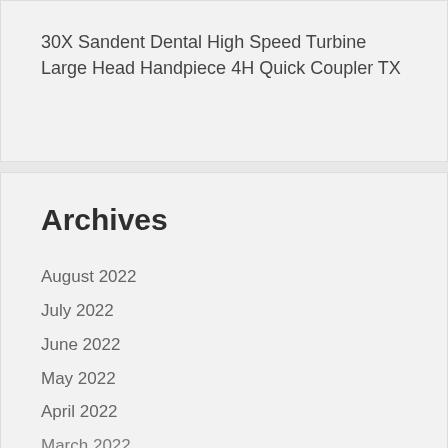30X Sandent Dental High Speed Turbine Large Head Handpiece 4H Quick Coupler TX
Archives
August 2022
July 2022
June 2022
May 2022
April 2022
March 2022
February 2022